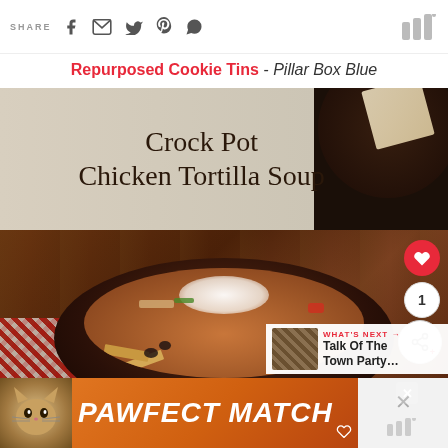SHARE [social icons] [mediavine logo]
Repurposed Cookie Tins - Pillar Box Blue
[Figure (photo): Food blog page showing Crock Pot Chicken Tortilla Soup recipe image with decorative hand-lettered title text overlay on a beige/warm background, below which is a dark bowl of chicken tortilla soup topped with sour cream, tortilla chips, corn, black beans, shredded chicken, and diced tomatoes on a red checkered cloth]
[Figure (infographic): PAWFECT MATCH advertisement banner with orange gradient background, cat photo on left, bold white italic text, and a secondary gray area on the right with mediavine logo]